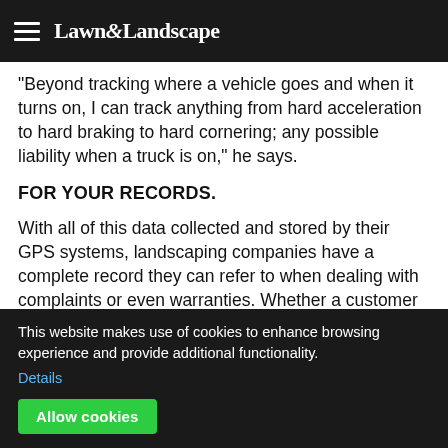Lawn & Landscape
“Beyond tracking where a vehicle goes and when it turns on, I can track anything from hard acceleration to hard braking to hard cornering; any possible liability when a truck is on,” he says.
FOR YOUR RECORDS.
With all of this data collected and stored by their GPS systems, landscaping companies have a complete record they can refer to when dealing with complaints or even warranties. Whether a customer claims crews never showed up to plow their driveway or a company truck sped past a neighborhood, contractors have proof one way or the other, Hurlock says.
“This system allows me to look at the history and say ‘on such a…ch date, crews were there for an hour and a half,’” he …s been very helpful that way. People believe when
… was driving. The data can provide both concrete eviden…
This website makes use of cookies to enhance browsing experience and provide additional functionality. Details Allow cookies